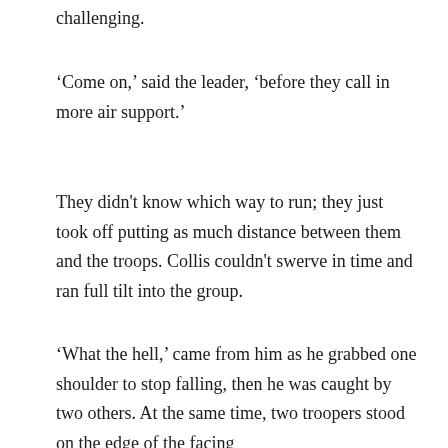challenging.
'Come on,' said the leader, 'before they call in more air support.'
They didn't know which way to run; they just took off putting as much distance between them and the troops. Collis couldn't swerve in time and ran full tilt into the group.
'What the hell,' came from him as he grabbed one shoulder to stop falling, then he was caught by two others. At the same time, two troopers stood on the edge of the facing